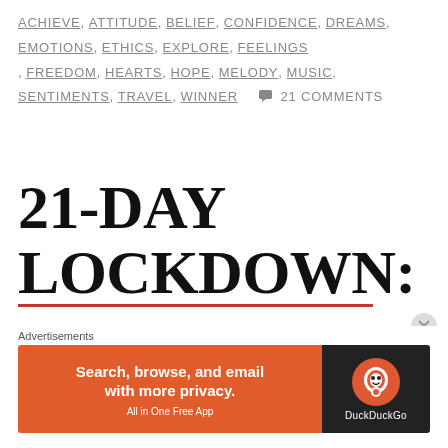ACHIEVE, ATTITUDE, BELIEF, CONFIDENCE, DREAMS, EMOTIONS, ETHICS, EXPLORE, FEELINGS, FREEDOM, HEARTS, HOPE, MELODY, MUSIC, SENTIMENTS, TRAVEL, WINNER   💬 21 COMMENTS
21-DAY LOCKDOWN: DAY 19 LIFE, PRACTICAL AND REAL
[Figure (other): DuckDuckGo advertisement banner: orange background with text 'Search, browse, and email with more privacy. All in One Free App' and DuckDuckGo logo on dark background]